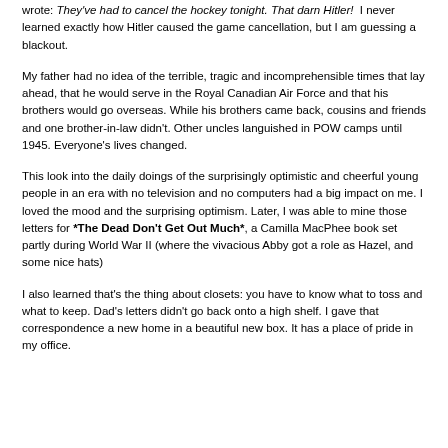wrote: They've had to cancel the hockey tonight. That darn Hitler! I never learned exactly how Hitler caused the game cancellation, but I am guessing a blackout.
My father had no idea of the terrible, tragic and incomprehensible times that lay ahead, that he would serve in the Royal Canadian Air Force and that his brothers would go overseas. While his brothers came back, cousins and friends and one brother-in-law didn't. Other uncles languished in POW camps until 1945. Everyone's lives changed.
This look into the daily doings of the surprisingly optimistic and cheerful young people in an era with no television and no computers had a big impact on me. I loved the mood and the surprising optimism. Later, I was able to mine those letters for *The Dead Don't Get Out Much*, a Camilla MacPhee book set partly during World War II (where the vivacious Abby got a role as Hazel, and some nice hats)
I also learned that's the thing about closets: you have to know what to toss and what to keep. Dad's letters didn't go back onto a high shelf. I gave that correspondence a new home in a beautiful new box. It has a place of pride in my office.